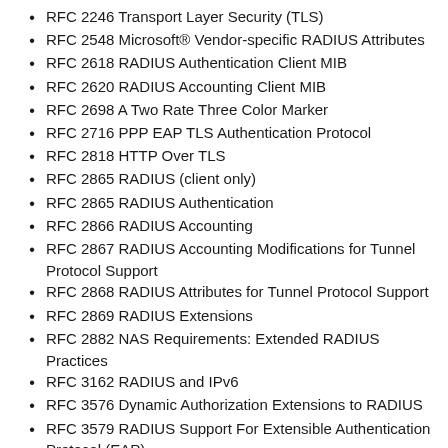RFC 2246 Transport Layer Security (TLS)
RFC 2548 Microsoft® Vendor-specific RADIUS Attributes
RFC 2618 RADIUS Authentication Client MIB
RFC 2620 RADIUS Accounting Client MIB
RFC 2698 A Two Rate Three Color Marker
RFC 2716 PPP EAP TLS Authentication Protocol
RFC 2818 HTTP Over TLS
RFC 2865 RADIUS (client only)
RFC 2865 RADIUS Authentication
RFC 2866 RADIUS Accounting
RFC 2867 RADIUS Accounting Modifications for Tunnel Protocol Support
RFC 2868 RADIUS Attributes for Tunnel Protocol Support
RFC 2869 RADIUS Extensions
RFC 2882 NAS Requirements: Extended RADIUS Practices
RFC 3162 RADIUS and IPv6
RFC 3576 Dynamic Authorization Extensions to RADIUS
RFC 3579 RADIUS Support For Extensible Authentication Protocol (EAP)